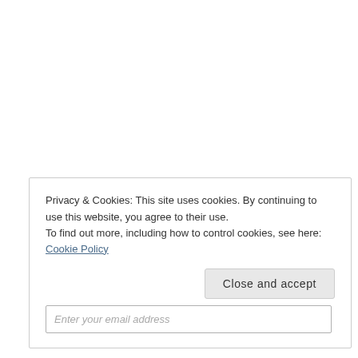Privacy & Cookies: This site uses cookies. By continuing to use this website, you agree to their use.
To find out more, including how to control cookies, see here: Cookie Policy
Close and accept
Enter your email address